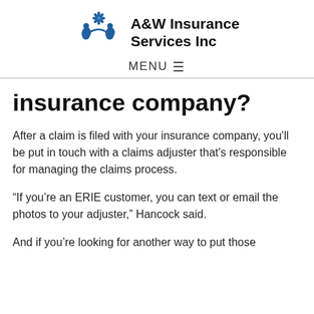[Figure (logo): A&W Insurance Services Inc logo with blue floral/snowflake graphic and bold black text]
MENU ☰
insurance company?
After a claim is filed with your insurance company, you'll be put in touch with a claims adjuster that's responsible for managing the claims process.
“If you’re an ERIE customer, you can text or email the photos to your adjuster,” Hancock said.
And if you’re looking for another way to put those